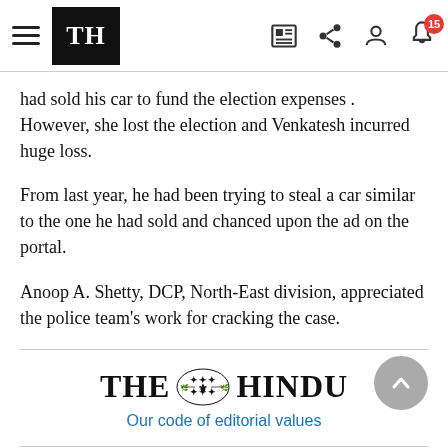THE HINDU — navigation header with hamburger menu, TH logo, and icons (newspaper, share, user, notifications: 15)
had sold his car to fund the election expenses . However, she lost the election and Venkatesh incurred huge loss.
From last year, he had been trying to steal a car similar to the one he had sold and chanced upon the ad on the portal.
Anoop A. Shetty, DCP, North-East division, appreciated the police team's work for cracking the case.
[Figure (logo): THE HINDU newspaper logo with emblem, followed by blue text 'Our code of editorial values']